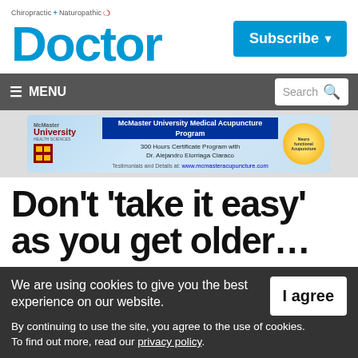Chiropractic + Naturopathic Doctor
[Figure (logo): Chiropractic + Naturopathic Doctor magazine logo with blue 'Doctor' wordmark]
[Figure (other): Subscribe button in blue]
[Figure (other): Navigation bar with hamburger MENU and Search box]
[Figure (other): McMaster University Medical Acupuncture Program advertisement banner]
Don't 'take it easy' as you get older…
We are using cookies to give you the best experience on our website.
By continuing to use the site, you agree to the use of cookies.
To find out more, read our privacy policy.